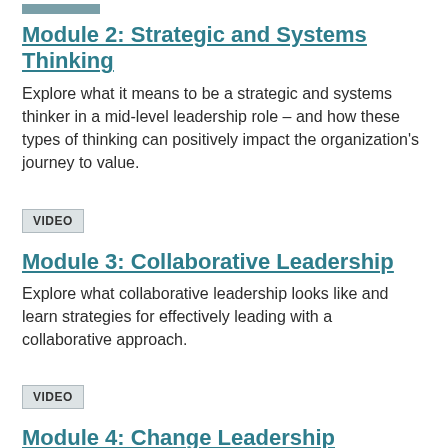Module 2: Strategic and Systems Thinking
Explore what it means to be a strategic and systems thinker in a mid-level leadership role – and how these types of thinking can positively impact the organization's journey to value.
VIDEO
Module 3: Collaborative Leadership
Explore what collaborative leadership looks like and learn strategies for effectively leading with a collaborative approach.
VIDEO
Module 4: Change Leadership
Explore the change process as well as the emotional side of change. Learn specific things you can do as a leader of change to smooth the process and help